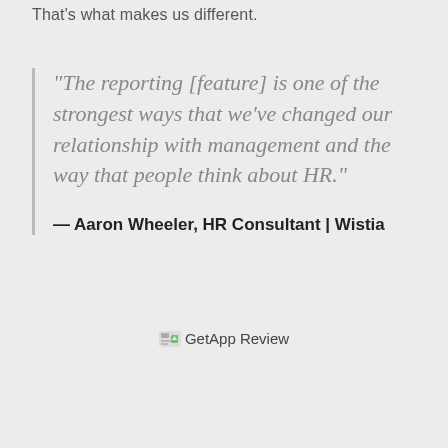That’s what makes us different.
“The reporting [feature] is one of the strongest ways that we’ve changed our relationship with management and the way that people think about HR.”
— Aaron Wheeler, HR Consultant | Wistia
[Figure (logo): GetApp Review badge with small image icon and text label]